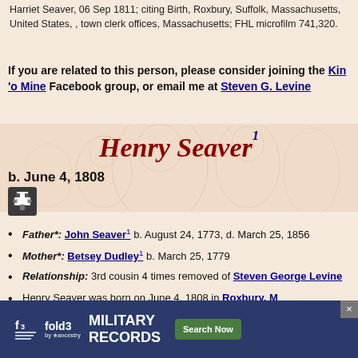Harriet Seaver, 06 Sep 1811; citing Birth, Roxbury, Suffolk, Massachusetts, United States, , town clerk offices, Massachusetts; FHL microfilm 741,320.
If you are related to this person, please consider joining the Kin 'o Mine Facebook group, or email me at Steven G. Levine
Henry Seaver
b. June 4, 1808
Father*: John Seaver b. August 24, 1773, d. March 25, 1856
Mother*: Betsey Dudley b. March 25, 1779
Relationship: 3rd cousin 4 times removed of Steven George Levine
Henry Seaver was born on June 4, 1808 in Roxbury, M...
H...y.
[Figure (infographic): Fold3 Military Records advertisement banner at the bottom of the page]